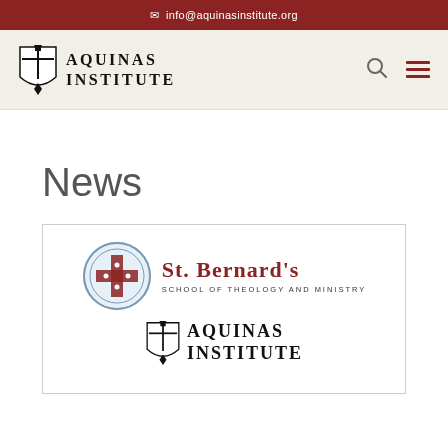✉ info@aquinasinstitute.org
[Figure (logo): Aquinas Institute logo with shield and text AQUINAS INSTITUTE in uppercase serif font, navigation bar with search and hamburger menu icons]
News
[Figure (logo): Card containing St. Bernard's School of Theology and Ministry logo (circular seal with cross and shield) alongside the name in red serif font, and Aquinas Institute logo below]